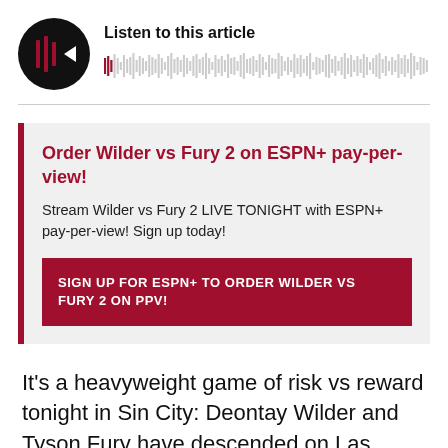[Figure (other): Audio player widget with black circular play button and waveform visualization, titled 'Listen to this article']
Order Wilder vs Fury 2 on ESPN+ pay-per-view!
Stream Wilder vs Fury 2 LIVE TONIGHT with ESPN+ pay-per-view! Sign up today!
SIGN UP FOR ESPN+ TO ORDER WILDER VS FURY 2 ON PPV!
It's a heavyweight game of risk vs reward tonight in Sin City: Deontay Wilder and Tyson Fury have descended on Las Vegas in an attempt to cash in on the biggest gambles of their careers.